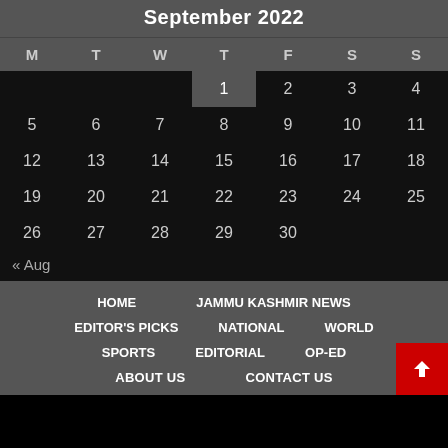September 2022
| M | T | W | T | F | S | S |
| --- | --- | --- | --- | --- | --- | --- |
|  |  |  | 1 | 2 | 3 | 4 |
| 5 | 6 | 7 | 8 | 9 | 10 | 11 |
| 12 | 13 | 14 | 15 | 16 | 17 | 18 |
| 19 | 20 | 21 | 22 | 23 | 24 | 25 |
| 26 | 27 | 28 | 29 | 30 |  |  |
« Aug
HOME
JAMMU KASHMIR NEWS
EDITOR'S PICKS
NATIONAL
WORLD
SPORTS
EDITORIAL
OP-ED
ABOUT US
CONTACT US